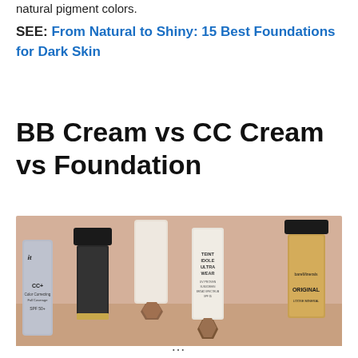natural pigment colors.
SEE: From Natural to Shiny: 15 Best Foundations for Dark Skin
BB Cream vs CC Cream vs Foundation
[Figure (photo): Flatlay product photo showing several cosmetic foundation bottles and tubes including an IT Cosmetics CC+ cream tube, a black capped foundation, a nude/white bottle with geometric wooden cap, a Teint Idole Ultra Wear foundation bottle, and a bareMinerals Original foundation bottle, arranged on a pink/beige background.]
…